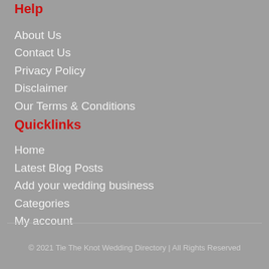Help
About Us
Contact Us
Privacy Policy
Disclaimer
Our Terms & Conditions
Quicklinks
Home
Latest Blog Posts
Add your wedding business
Categories
My account
© 2021 Tie The Knot Wedding Directory | All Rights Reserved